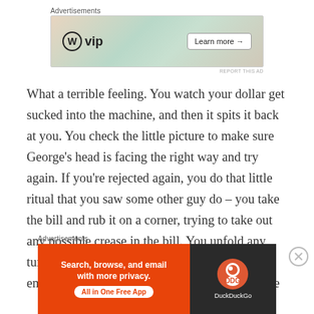Advertisements
[Figure (screenshot): WordPress VIP advertisement banner with colorful cards background and Learn more button]
What a terrible feeling. You watch your dollar get sucked into the machine, and then it spits it back at you. You check the little picture to make sure George's head is facing the right way and try again. If you're rejected again, you do that little ritual that you saw some other guy do – you take the bill and rub it on a corner, trying to take out any possible crease in the bill. You unfold any turned-up corners and hope you're bill is good enough. If you still find your bill rejected, you're
Advertisements
[Figure (screenshot): DuckDuckGo advertisement banner: Search, browse, and email with more privacy. All in One Free App]